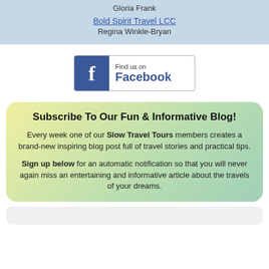Gloria Frank
Bold Spirit Travel LCC
Regina Winkle-Bryan
[Figure (logo): Find us on Facebook button with blue Facebook icon]
Subscribe To Our Fun & Informative Blog!
Every week one of our Slow Travel Tours members creates a brand-new inspiring blog post full of travel stories and practical tips.
Sign up below for an automatic notification so that you will never again miss an entertaining and informative article about the travels of your dreams.